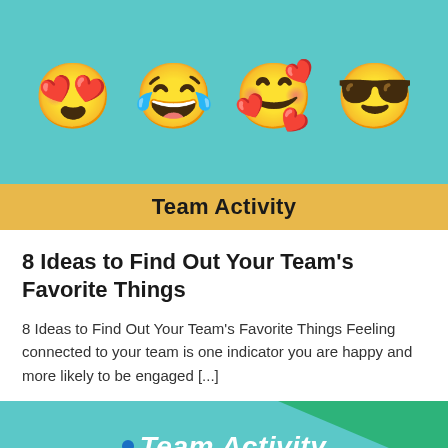[Figure (illustration): Banner image with teal background showing four emoji faces (heart eyes, tears of joy, hearts/blushing, sunglasses) and a gold banner reading 'Team Activity']
8 Ideas to Find Out Your Team's Favorite Things
8 Ideas to Find Out Your Team's Favorite Things Feeling connected to your team is one indicator you are happy and more likely to be engaged [...]
[Figure (illustration): Partial banner image with teal and green triangle background, white bold italic text reading 'Team Activity' with a blue dot bullet]